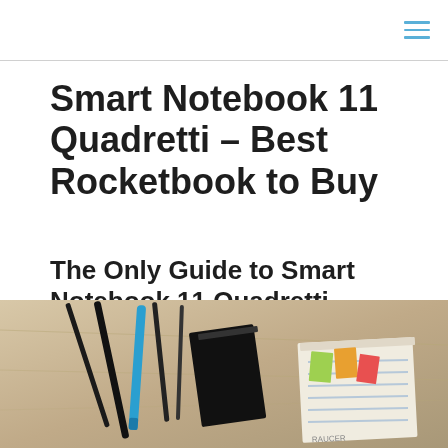≡
Smart Notebook 11 Quadretti – Best Rocketbook to Buy
The Only Guide to Smart Notebook 11 Quadretti
[Figure (photo): Overhead photo of a wooden desk surface with pens, a black notebook/eraser, sticky notes in green/orange/pink/red, and a notepad with blue lines]